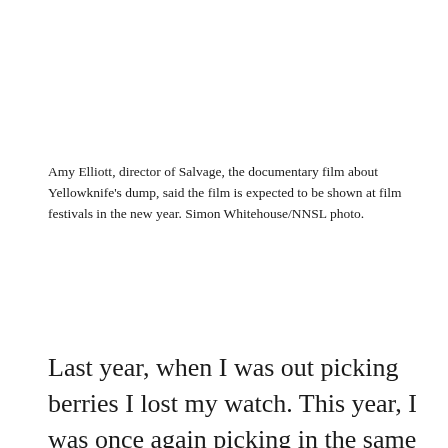Amy Elliott, director of Salvage, the documentary film about Yellowknife's dump, said the film is expected to be shown at film festivals in the new year. Simon Whitehouse/NNSL photo.
Last year, when I was out picking berries I lost my watch. This year, I was once again picking in the same